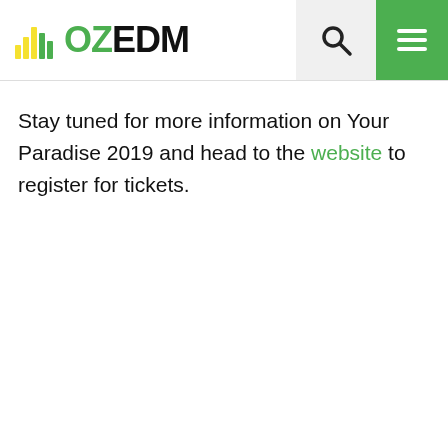OZEDM
Stay tuned for more information on Your Paradise 2019 and head to the website to register for tickets.